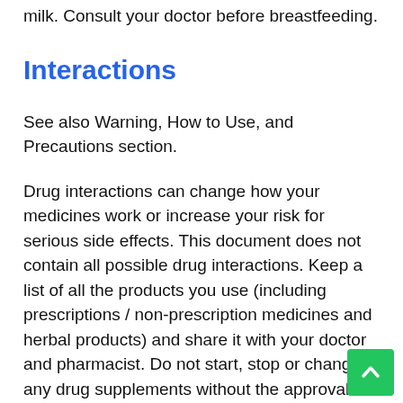milk. Consult your doctor before breastfeeding.
Interactions
See also Warning, How to Use, and Precautions section.
Drug interactions can change how your medicines work or increase your risk for serious side effects. This document does not contain all possible drug interactions. Keep a list of all the products you use (including prescriptions / non-prescription medicines and herbal products) and share it with your doctor and pharmacist. Do not start, stop or change any drug supplements without the approval of your doctor.